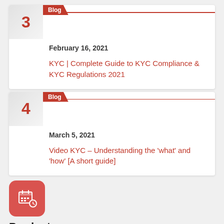3 | Blog | February 16, 2021 | KYC | Complete Guide to KYC Compliance & KYC Regulations 2021
4 | Blog | March 5, 2021 | Video KYC – Understanding the 'what' and 'how' [A short guide]
[Figure (illustration): Red rounded square icon with a calendar and clock symbol]
Products